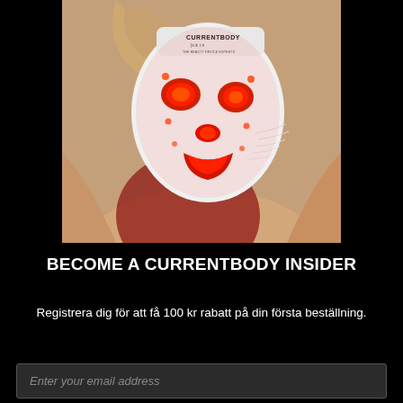[Figure (photo): Person wearing a white LED light therapy face mask (CurrentBody Skin) with red lights glowing through the eye, nose and mouth areas. The person is wearing a beige/salmon robe. The mask has 'CURRENTBODY skin THE BEAUTY DEVICE EXPERTS' text on the forehead area.]
BECOME A CURRENTBODY INSIDER
Registrera dig för att få 100 kr rabatt på din första beställning.
Enter your email address